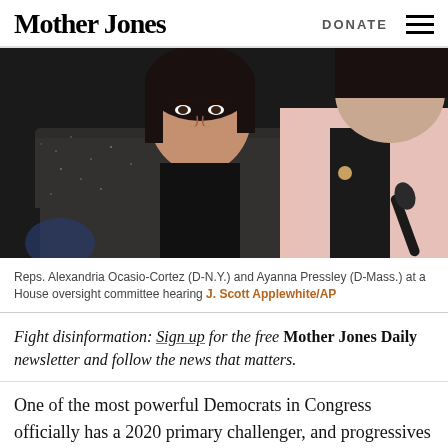Mother Jones  DONATE
[Figure (photo): Two women seated at a congressional hearing. The woman on the left wears a dark speckled jacket and rests her chin on her hand in a thoughtful pose. The woman on the right wears a light pink blazer over a black top.]
Reps. Alexandria Ocasio-Cortez (D-N.Y.) and Ayanna Pressley (D-Mass.) at a House oversight committee hearing J. Scott Applewhite/AP
Fight disinformation: Sign up for the free Mother Jones Daily newsletter and follow the news that matters.
One of the most powerful Democrats in Congress officially has a 2020 primary challenger, and progressives are hoping the race will be a repeat of the…